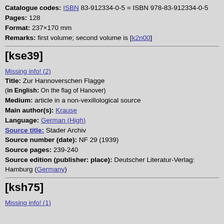Catalogue codes: ISBN 83-912334-0-5 = ISBN 978-83-912334-0-5
Pages: 128
Format: 237×170 mm
Remarks: first volume; second volume is [k2n00]
[kse39]
Missing info! (2)
Title: Zur Hannoverschen Flagge
(in English: On the flag of Hanover)
Medium: article in a non-vexillological source
Main author(s): Krause
Language: German (High)
Source title: Stader Archiv
Source number (date): NF 29 (1939)
Source pages: 239-240
Source edition (publisher: place): Deutscher Literatur-Verlag: Hamburg (Germany)
[ksh75]
Missing info! (1)